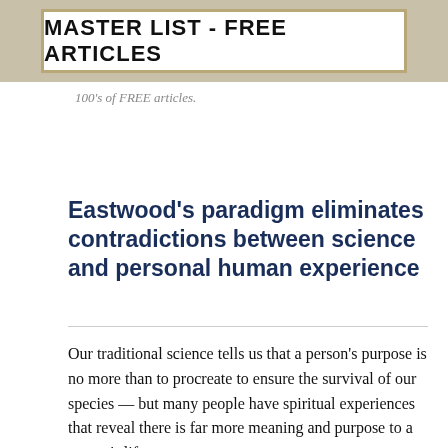[Figure (other): Banner graphic with gray background and bordered box containing text: MASTER LIST - FREE ARTICLES]
100's of FREE articles.
Eastwood's paradigm eliminates contradictions between science and personal human experience
Our traditional science tells us that a person's purpose is no more than to procreate to ensure the survival of our species — but many people have spiritual experiences that reveal there is far more meaning and purpose to a person's life — intensely held personal beliefs found...